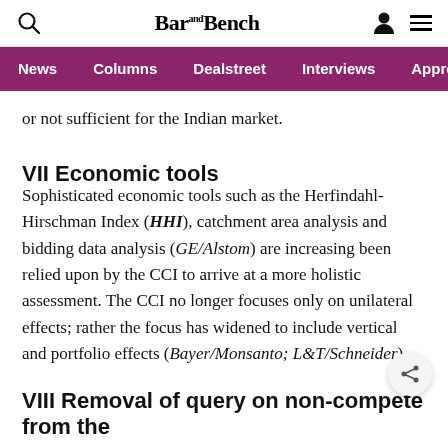Bar and Bench — Navigation: News, Columns, Dealstreet, Interviews, Apprenti
or not sufficient for the Indian market.
VII Economic tools
Sophisticated economic tools such as the Herfindahl-Hirschman Index (HHI), catchment area analysis and bidding data analysis (GE/Alstom) are increasing been relied upon by the CCI to arrive at a more holistic assessment. The CCI no longer focuses only on unilateral effects; rather the focus has widened to include vertical and portfolio effects (Bayer/Monsanto; L&T/Schneider).
VIII Removal of query on non-compete from the